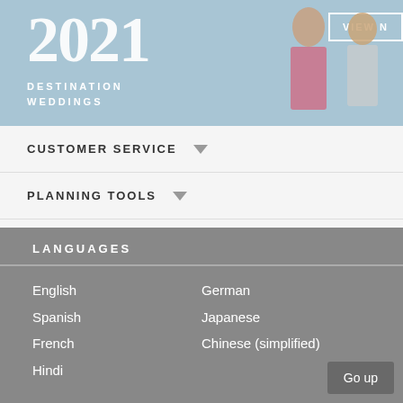[Figure (photo): Banner image showing 2021 Destination Weddings header with a couple in wedding attire against a blue sky background, and a VIEW NOW button]
CUSTOMER SERVICE ▼
PLANNING TOOLS ▼
ADVERTISING/PRESS ▼
STAY CONNECTED ▼
LANGUAGES
English
Spanish
French
Hindi
German
Japanese
Chinese (simplified)